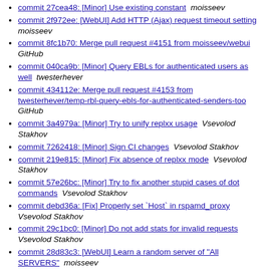commit 27cea48: [Minor] Use existing constant  moisseev
commit 2f972ee: [WebUI] Add HTTP (Ajax) request timeout setting  moisseev
commit 8fc1b70: Merge pull request #4151 from moisseev/webui  GitHub
commit 040ca9b: [Minor] Query EBLs for authenticated users as well  twesterhever
commit 434112e: Merge pull request #4153 from twesterhever/temp-rbl-query-ebls-for-authenticated-senders-too  GitHub
commit 3a4979a: [Minor] Try to unify replxx usage  Vsevolod Stakhov
commit 7262418: [Minor] Sign CI changes  Vsevolod Stakhov
commit 219e815: [Minor] Fix absence of replxx mode  Vsevolod Stakhov
commit 57e26bc: [Minor] Try to fix another stupid cases of dot commands  Vsevolod Stakhov
commit debd36a: [Fix] Properly set `Host` in rspamd_proxy  Vsevolod Stakhov
commit 29c1bc0: [Minor] Do not add stats for invalid requests  Vsevolod Stakhov
commit 28d83c3: [WebUI] Learn a random server of "All SERVERS"  moisseev
commit 562ba5e: Merge pull request #4160 from